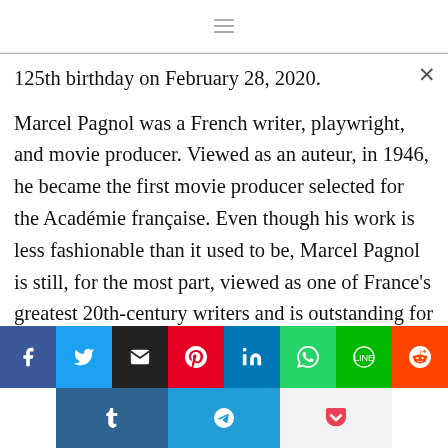125th birthday on February 28, 2020.
Marcel Pagnol was a French writer, playwright, and movie producer. Viewed as an auteur, in 1946, he became the first movie producer selected for the Académie française. Even though his work is less fashionable than it used to be, Marcel Pagnol is still, for the most part, viewed as one of France's greatest 20th-century writers and is outstanding for the way that he exceeded expectations in pretty much every medium…